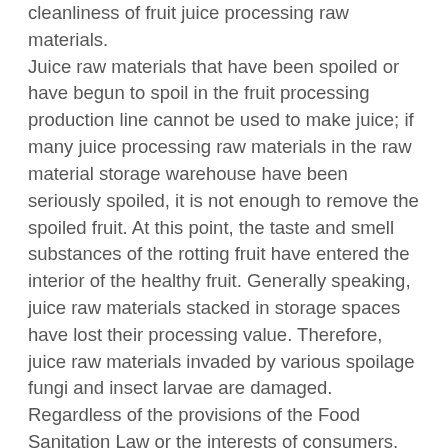cleanliness of fruit juice processing raw materials. Juice raw materials that have been spoiled or have begun to spoil in the fruit processing production line cannot be used to make juice; if many juice processing raw materials in the raw material storage warehouse have been seriously spoiled, it is not enough to remove the spoiled fruit. At this point, the taste and smell substances of the rotting fruit have entered the interior of the healthy fruit. Generally speaking, juice raw materials stacked in storage spaces have lost their processing value. Therefore, juice raw materials invaded by various spoilage fungi and insect larvae are damaged. Regardless of the provisions of the Food Sanitation Law or the interests of consumers, juices made from these raw materials are unsanitary and of poor sensory quality, and cannot be used as raw materials for juice processing. If the juice